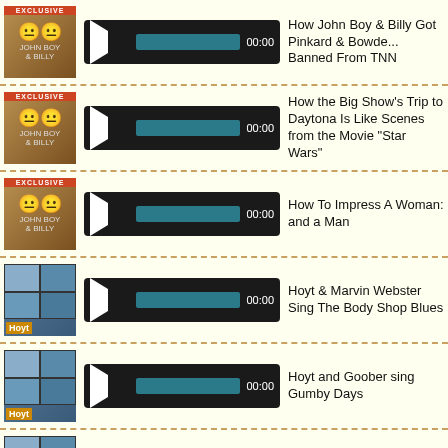How John Boy & Billy Got Pinkard & Bowde... Banned From TNN
How the Big Show's Trip to Daytona Is Like Scenes from the Movie "Star Wars"
How To Impress A Woman: and a Man
Hoyt & Marvin Webster Sing The Body Shop Blues
Hoyt and Goober sing Gumby Days
Hoyt Sings - Trailer Park Funk
The B... Copyright